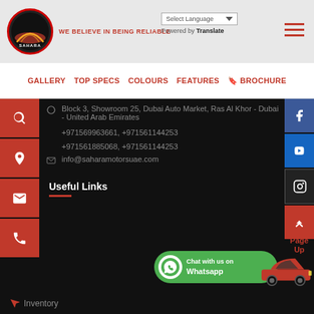Sahara Motors logo — WE BELIEVE IN BEING RELIABLE | Select Language | Powered by Translate | Hamburger menu
GALLERY   TOP SPECS   COLOURS   FEATURES   🔖 BROCHURE
Block 3, Showroom 25, Dubai Auto Market, Ras Al Khor - Dubai - United Arab Emirates
+971569963661, +971561144253
+971561885068, +971561144253
info@saharamotorsuae.com
Useful Links
[Figure (infographic): WhatsApp Chat badge: green rounded rectangle with WhatsApp icon and text 'Chat with us on Whatsapp']
[Figure (illustration): Small red sports car illustration]
Inventory